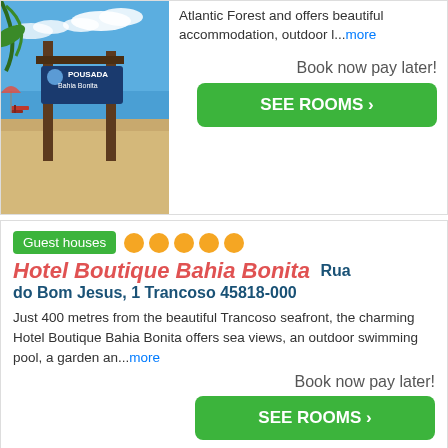[Figure (photo): Beach photo showing Pousada Bahia Bonita sign on wooden posts, sandy beach, blue sky and ocean]
Atlantic Forest and offers beautiful accommodation, outdoor l...more
Book now pay later!
SEE ROOMS ›
Guest houses
Hotel Boutique Bahia Bonita   Rua do Bom Jesus, 1 Trancoso 45818-000
Just 400 metres from the beautiful Trancoso seafront, the charming Hotel Boutique Bahia Bonita offers sea views, an outdoor swimming pool, a garden an...more
Book now pay later!
SEE ROOMS ›